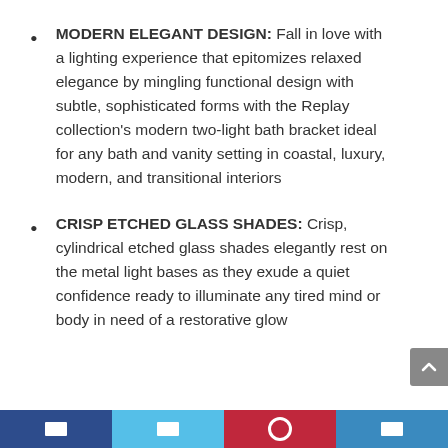MODERN ELEGANT DESIGN: Fall in love with a lighting experience that epitomizes relaxed elegance by mingling functional design with subtle, sophisticated forms with the Replay collection's modern two-light bath bracket ideal for any bath and vanity setting in coastal, luxury, modern, and transitional interiors
CRISP ETCHED GLASS SHADES: Crisp, cylindrical etched glass shades elegantly rest on the metal light bases as they exude a quiet confidence ready to illuminate any tired mind or body in need of a restorative glow